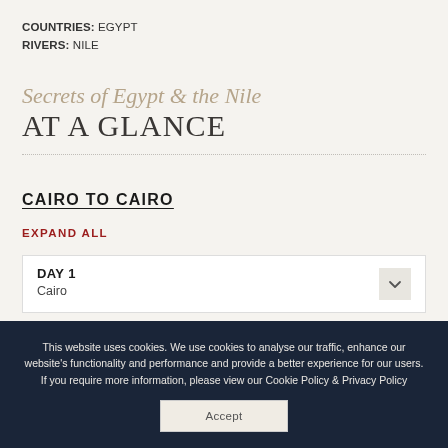COUNTRIES: EGYPT
RIVERS: NILE
Secrets of Egypt & the Nile
AT A GLANCE
CAIRO TO CAIRO
EXPAND ALL
DAY 1
Cairo
This website uses cookies. We use cookies to analyse our traffic, enhance our website's functionality and performance and provide a better experience for our users.
If you require more information, please view our Cookie Policy & Privacy Policy
Accept